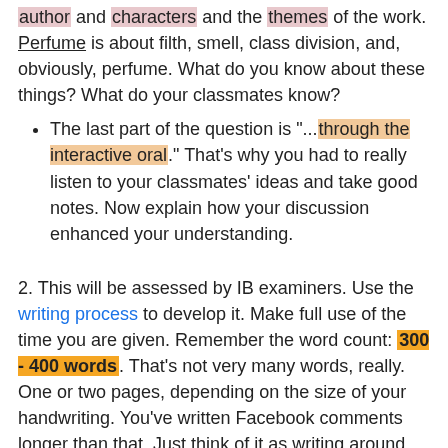author and characters and the themes of the work. Perfume is about filth, smell, class division, and, obviously, perfume. What do you know about these things? What do your classmates know?
The last part of the question is "...through the interactive oral." That's why you had to really listen to your classmates' ideas and take good notes. Now explain how your discussion enhanced your understanding.
2. This will be assessed by IB examiners. Use the writing process to develop it. Make full use of the time you are given. Remember the word count: 300 - 400 words. That's not very many words, really. One or two pages, depending on the size of your handwriting. You've written Facebook comments longer than that. Just think of it as writing around 25 Tweets. You can do that in your lunch break. The point is, you have plenty of time to think about and plan out exactly